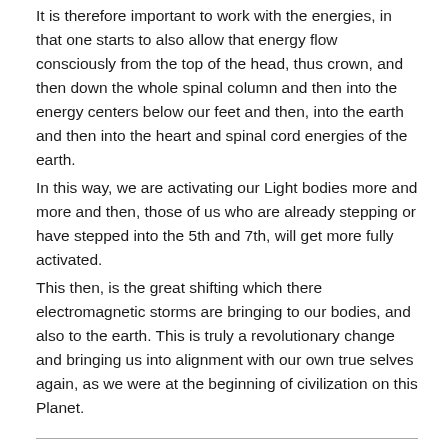It is therefore important to work with the energies, in that one starts to also allow that energy flow consciously from the top of the head, thus crown, and then down the whole spinal column and then into the energy centers below our feet and then, into the earth and then into the heart and spinal cord energies of the earth.
In this way, we are activating our Light bodies more and more and then, those of us who are already stepping or have stepped into the 5th and 7th, will get more fully activated.
This then, is the great shifting which there electromagnetic storms are bringing to our bodies, and also to the earth. This is truly a revolutionary change and bringing us into alignment with our own true selves again, as we were at the beginning of civilization on this Planet.